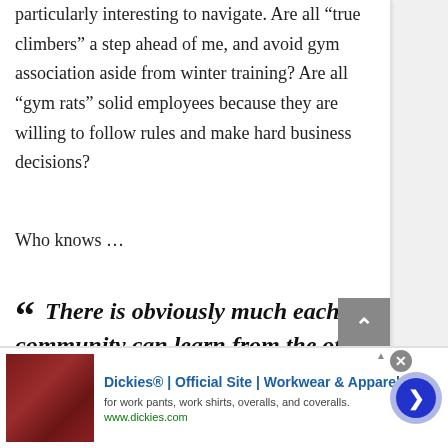particularly interesting to navigate. Are all “true climbers” a step ahead of me, and avoid gym association aside from winter training? Are all “gym rats” solid employees because they are willing to follow rules and make hard business decisions?
Who knows …
“ There is obviously much each community can learn from the other as
ur sport continues to branch off and
[Figure (other): Advertisement banner: Dickies Official Site - Workwear & Apparel. Shows a product image on the left, ad text in the middle, and a navigation arrow button on the right. infolinks label shown above the ad.]